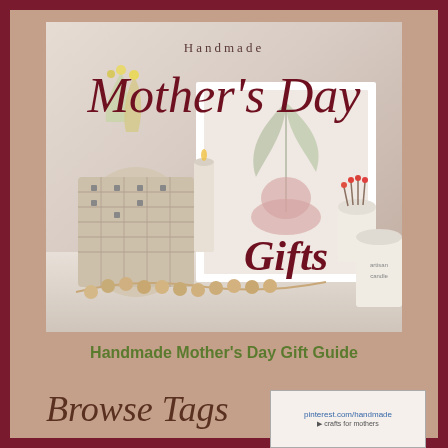[Figure (photo): A styled flat-lay photo showing handmade Mother's Day gift items: a woven basket with yellow flowers, a white framed print with a palm leaf and pink vase silhouette, wooden bead garland, a candle, and a jar with matches. Overlaid text reads 'Handmade' at top, 'Mother's Day' in cursive script, and 'Gifts' in large serif italic.]
Handmade Mother's Day Gift Guide
Browse Tags